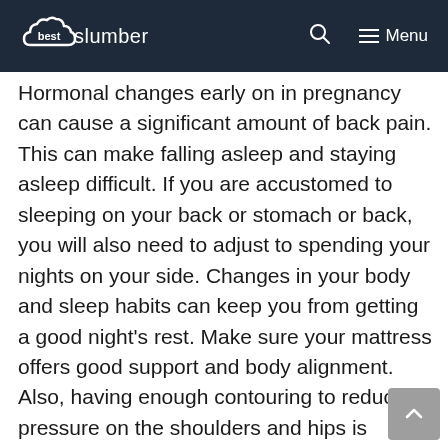best slumber
Hormonal changes early on in pregnancy can cause a significant amount of back pain. This can make falling asleep and staying asleep difficult. If you are accustomed to sleeping on your back or stomach or back, you will also need to adjust to spending your nights on your side. Changes in your body and sleep habits can keep you from getting a good night's rest. Make sure your mattress offers good support and body alignment. Also, having enough contouring to reduce pressure on the shoulders and hips is essential. The right mattress can go a long way towards making your nights more comfortable and restful.